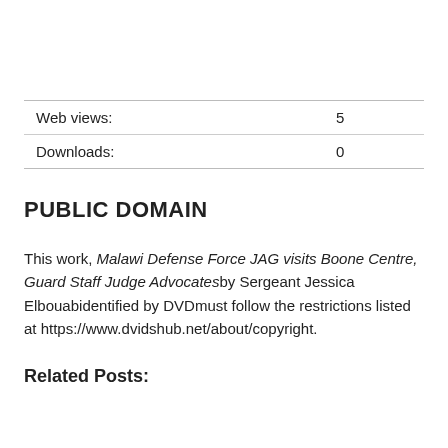| Web views: | 5 |
| Downloads: | 0 |
PUBLIC DOMAIN
This work, Malawi Defense Force JAG visits Boone Centre, Guard Staff Judge Advocatesby Sergeant Jessica Elbouabidentified by DVDmust follow the restrictions listed at https://www.dvidshub.net/about/copyright.
Related Posts: